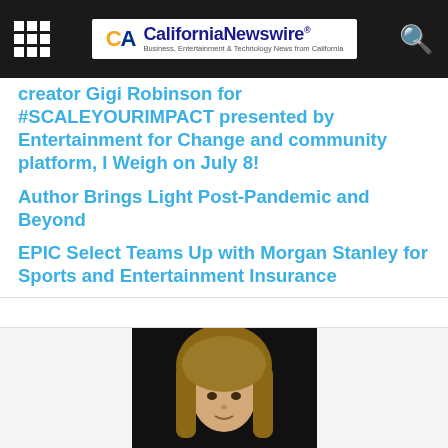California Newswire® — Business, Entertainment & Technology News from California
creator Gigi Robinson for #SCALEYOURIMPACT presented by Entertainment for Change and community platform, I Weigh on July 8!
Author Brings Light Post-Pandemic and Beyond
EPIC Select Teams Up with Morgan Stanley for Sports and Entertainment Insurance
[Figure (photo): Portrait photo of a person with shoulder-length brown hair against a dark background, cropped at the head/shoulders]